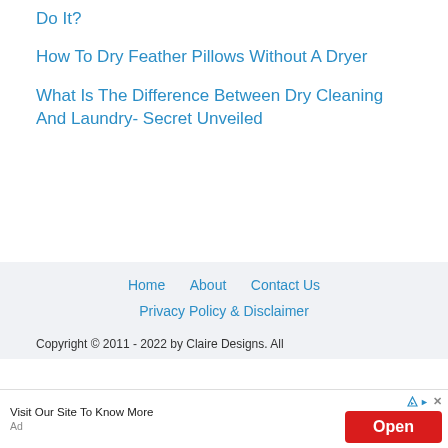Do It?
How To Dry Feather Pillows Without A Dryer
What Is The Difference Between Dry Cleaning And Laundry- Secret Unveiled
Home   About   Contact Us
Privacy Policy & Disclaimer
Copyright © 2011 - 2022 by Claire Designs. All
Visit Our Site To Know More
Ad